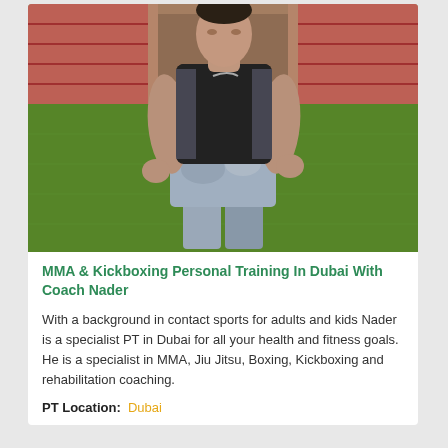[Figure (photo): A muscular man wearing a black Nike sleeveless compression shirt and grey camouflage shorts standing on a green grass field with stadium seating visible in the background.]
MMA & Kickboxing Personal Training In Dubai With Coach Nader
With a background in contact sports for adults and kids Nader is a specialist PT in Dubai for all your health and fitness goals. He is a specialist in MMA, Jiu Jitsu, Boxing, Kickboxing and rehabilitation coaching.
PT Location: Dubai